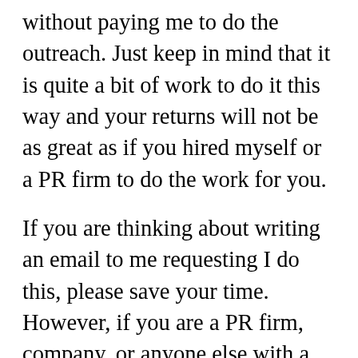without paying me to do the outreach. Just keep in mind that it is quite a bit of work to do it this way and your returns will not be as great as if you hired myself or a PR firm to do the work for you.
If you are thinking about writing an email to me requesting I do this, please save your time. However, if you are a PR firm, company, or anyone else with a great story you would like me to share, send me an email and if I like the idea I may just write about you.